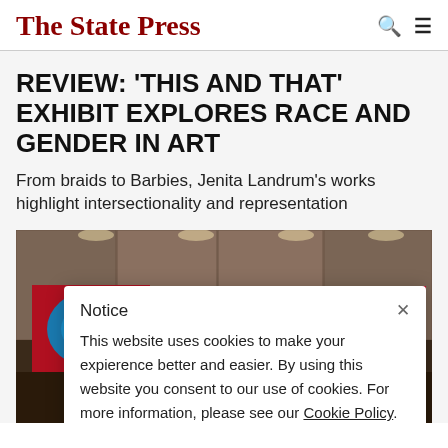The State Press
REVIEW: 'THIS AND THAT' EXHIBIT EXPLORES RACE AND GENDER IN ART
From braids to Barbies, Jenita Landrum's works highlight intersectionality and representation
[Figure (photo): Gallery wall with three colorful artworks displayed on white panels, illuminated from above. The artworks feature blue, pink and red abstract designs.]
Notice
This website uses cookies to make your expierence better and easier. By using this website you consent to our use of cookies. For more information, please see our Cookie Policy.